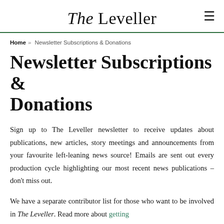The Leveller
Home » Newsletter Subscriptions & Donations
Newsletter Subscriptions & Donations
Sign up to The Leveller newsletter to receive updates about publications, new articles, story meetings and announcements from your favourite left-leaning news source! Emails are sent out every production cycle highlighting our most recent news publications – don't miss out.
We have a separate contributor list for those who want to be involved in The Leveller. Read more about getting